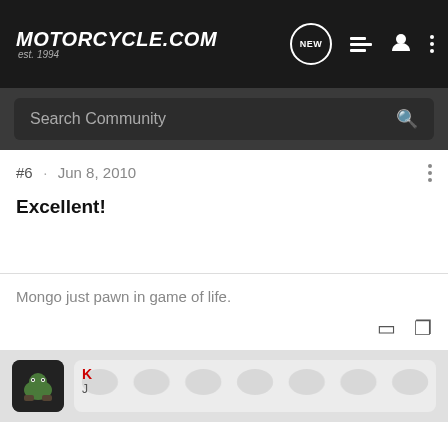Motorcycle.com est. 1994
Search Community
#6 · Jun 8, 2010
Excellent!
Mongo just pawn in game of life.
K
J